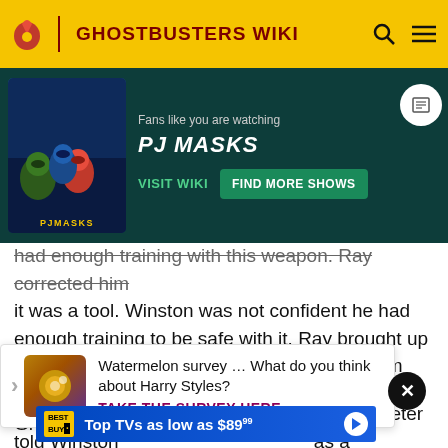GHOSTBUSTERS WIKI
[Figure (screenshot): PJ Masks promotional banner ad with dark teal background, show poster on left, text 'Fans like you are watching PJ MASKS', with VISIT WIKI and FIND MORE SHOWS buttons]
had enough training with this weapon. Ray corrected him it was a tool. Winston was not confident he had enough training to be safe with it. Ray brought up his control of the Proton Stream and great aim then leveled with him. They [him] to hit Ghost
[Figure (screenshot): Watermelon survey popup ad: 'Watermelon survey … What do you think about Harry Styles?' with TAKE THE SURVEY HERE call to action]
was Winston's first bust. As they suited up, Peter told Winston [as a] cakewalk, especially if it was, and no nagging. Egon
[Figure (screenshot): Best Buy advertisement banner: Top TVs as low as $89.99]